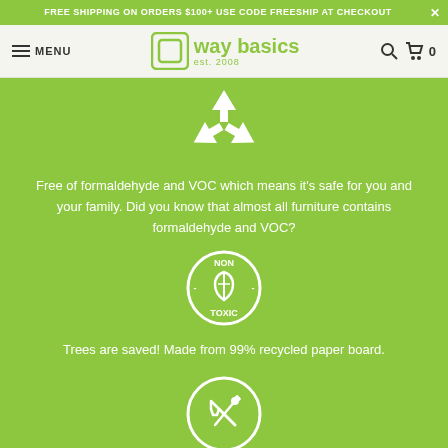FREE SHIPPING ON ORDERS $100+ USE CODE FREESHIP AT CHECKOUT
[Figure (logo): Way Basics logo with square icon and 'est. 2008' tagline, navigation bar with hamburger menu, search icon, and cart icon showing 0 items]
[Figure (illustration): White recycling symbol (three chasing arrows) on green background]
Free of formaldehyde and VOC which means it's safe for you and your family. Did you know that almost all furniture contains formaldehyde and VOC?
[Figure (illustration): NON TOXIC circular badge with leaf design on green background]
Trees are saved! Made from 99% recycled paper board.
[Figure (illustration): No tools required icon - circle with wrench and screwdriver crossed out]